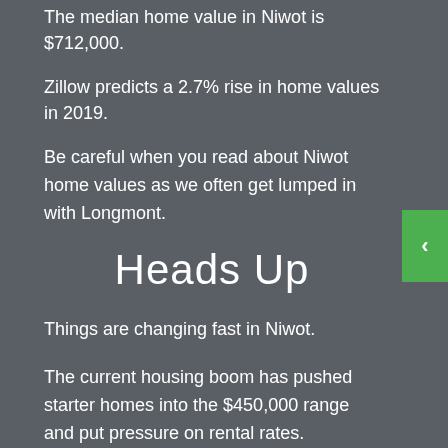The median home value in Niwot is $712,000.
Zillow predicts a 2.7% rise in home values in 2019.
Be careful when you read about Niwot home values as we often get lumped in with Longmont.
Heads Up
Things are changing fast in Niwot.
The current housing boom has pushed starter homes into the $450,000 range and put pressure on rental rates.
Many of the old-timers have cashed in and moved out and it's changing the character of the Niwot